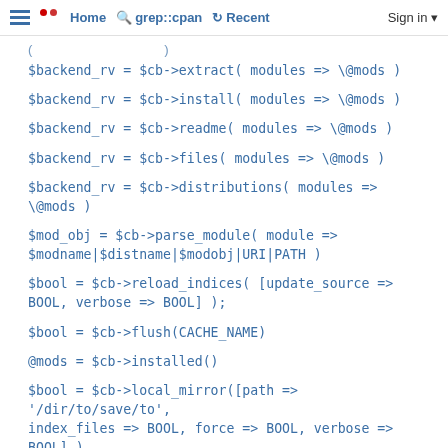Home  grep::cpan  Recent  Sign in
$backend_rv = $cb->extract( modules => \@mods )
$backend_rv = $cb->install( modules => \@mods )
$backend_rv = $cb->readme( modules => \@mods )
$backend_rv = $cb->files( modules => \@mods )
$backend_rv = $cb->distributions( modules => \@mods )
$mod_obj = $cb->parse_module( module => $modname|$distname|$modobj|URI|PATH )
$bool = $cb->reload_indices( [update_source => BOOL, verbose => BOOL] );
$bool = $cb->flush(CACHE_NAME)
@mods = $cb->installed()
$bool = $cb->local_mirror([path => '/dir/to/save/to', index_files => BOOL, force => BOOL, verbose => BOOL] )
$file = $cb->autobundle([path => OUTPUT_PATH, force => BOOL, verbose => BOOL])
$bool = $cb->save_state